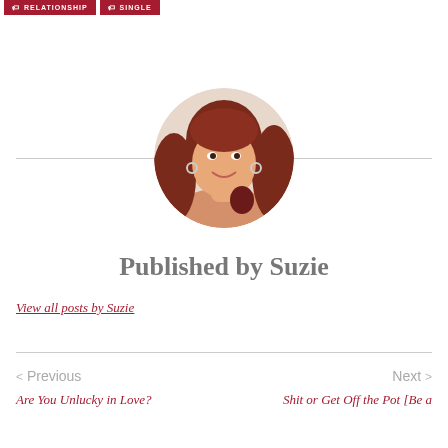RELATIONSHIP
SINGLE
[Figure (photo): Circular avatar photo of Suzie, a woman with curly reddish-brown hair, smiling, holding something dark red]
Published by Suzie
View all posts by Suzie
< Previous | Next >
Are You Unlucky in Love?
Shit or Get Off the Pot [Be a